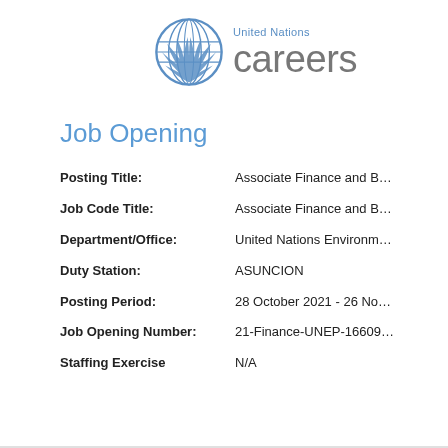[Figure (logo): United Nations Careers logo with UN emblem and text 'United Nations careers']
Job Opening
| Field | Value |
| --- | --- |
| Posting Title: | Associate Finance and B… |
| Job Code Title: | Associate Finance and B… |
| Department/Office: | United Nations Environm… |
| Duty Station: | ASUNCION |
| Posting Period: | 28 October 2021 - 26 No… |
| Job Opening Number: | 21-Finance-UNEP-16609… |
| Staffing Exercise | N/A |